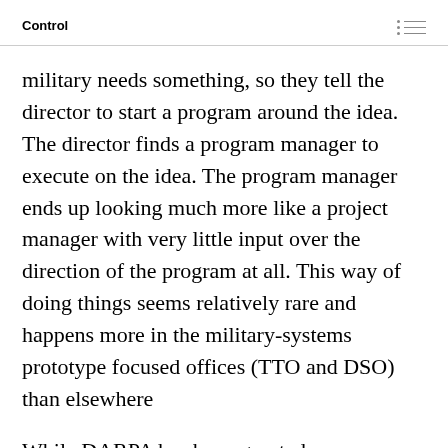Control
military needs something, so they tell the director to start a program around the idea. The director finds a program manager to execute on the idea. The program manager ends up looking much more like a project manager with very little input over the direction of the program at all. This way of doing things seems relatively rare and happens more in the military-systems prototype focused offices (TTO and DSO) than elsewhere
While DARPA has been granted some exceptions to broad government rules around hiring and how they can spend money, DARPA is still subject to many ‘stupid government